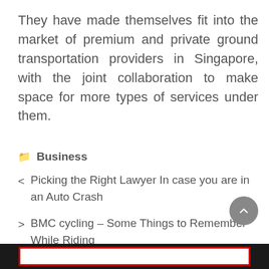They have made themselves fit into the market of premium and private ground transportation providers in Singapore, with the joint collaboration to make space for more types of services under them.
📁 Business
< Picking the Right Lawyer In case you are in an Auto Crash
> BMC cycling – Some Things to Remember While Riding